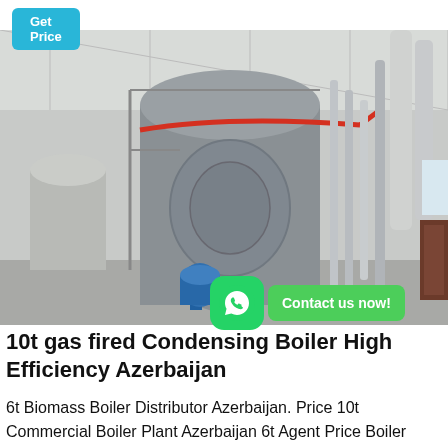[Figure (photo): Industrial boiler room showing large horizontal cylindrical gas-fired condensing boilers with red and blue piping, structural supports, and exhaust stacks in a white industrial building]
10t gas fired Condensing Boiler High Efficiency Azerbaijan
6t Biomass Boiler Distributor Azerbaijan. Price 10t Commercial Boiler Plant Azerbaijan 6t Agent Price Boiler